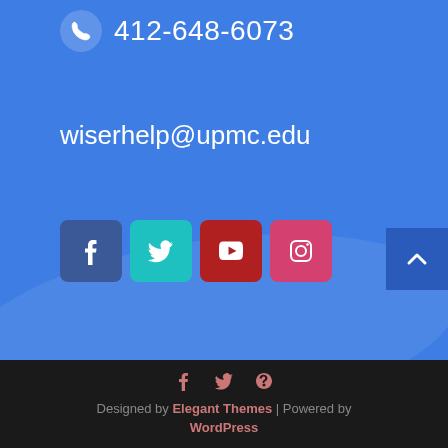412-648-6073
wiserhelp@upmc.edu
[Figure (other): Social media icons: Facebook, Twitter, YouTube, Instagram]
[Figure (other): Scroll to top button with upward chevron]
Designed by Elegant Themes | Powered by WordPress